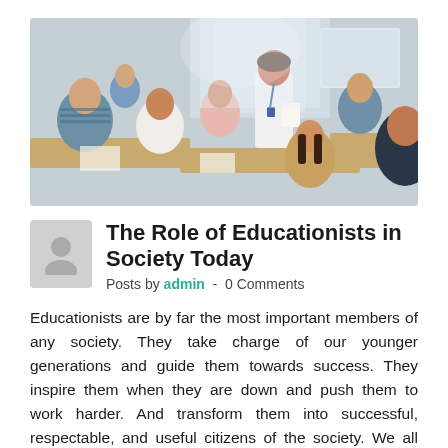[Figure (photo): Classroom scene with a female teacher standing and engaging with a group of students seated around desks.]
The Role of Educationists in Society Today
Posts by admin  -  0 Comments
Educationists are by far the most important members of any society. They take charge of our younger generations and guide them towards success. They inspire them when they are down and push them to work harder. And transform them into successful, respectable, and useful citizens of the society. We all know that today's children are [...]